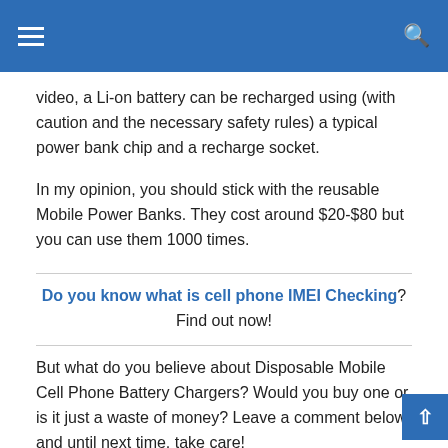Navigation menu and search icon
video, a Li-on battery can be recharged using (with caution and the necessary safety rules) a typical power bank chip and a recharge socket.
In my opinion, you should stick with the reusable Mobile Power Banks. They cost around $20-$80 but you can use them 1000 times.
Do you know what is cell phone IMEI Checking? Find out now!
But what do you believe about Disposable Mobile Cell Phone Battery Chargers? Would you buy one or is it just a waste of money? Leave a comment below and until next time, take care!